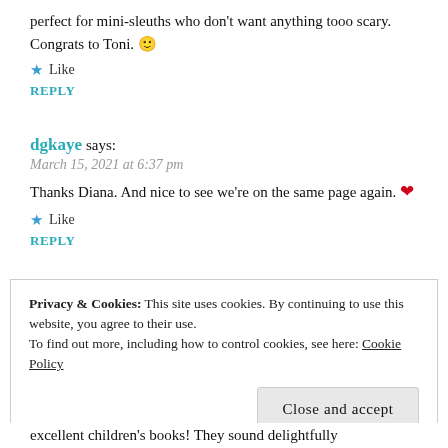perfect for mini-sleuths who don't want anything tooo scary. Congrats to Toni. 🙂
★ Like
REPLY
dgkaye says:
March 15, 2021 at 6:37 pm
Thanks Diana. And nice to see we're on the same page again. ❤
★ Like
REPLY
Privacy & Cookies: This site uses cookies. By continuing to use this website, you agree to their use. To find out more, including how to control cookies, see here: Cookie Policy
Close and accept
excellent children's books! They sound delightfully